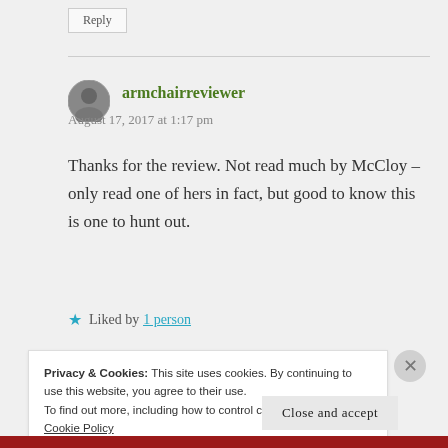Reply
armchairreviewer
August 17, 2017 at 1:17 pm
Thanks for the review. Not read much by McCloy – only read one of hers in fact, but good to know this is one to hunt out.
Liked by 1 person
Privacy & Cookies: This site uses cookies. By continuing to use this website, you agree to their use.
To find out more, including how to control cookies, see here: Cookie Policy
Close and accept